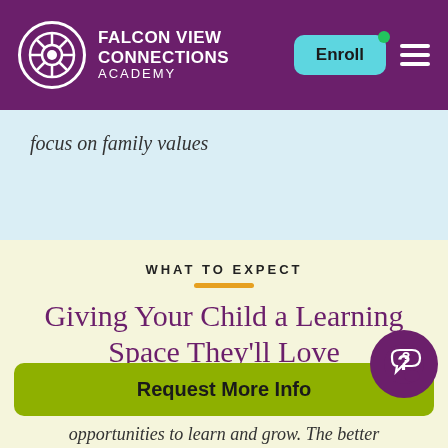FALCON VIEW CONNECTIONS ACADEMY
focus on family values
WHAT TO EXPECT
Giving Your Child a Learning Space They'll Love
Request More Info
opportunities to learn and grow. The better